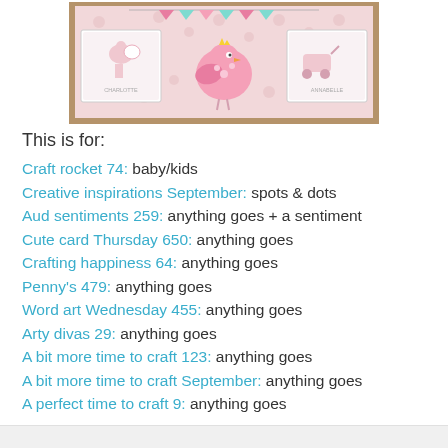[Figure (photo): A handmade craft card with pink polka dot background, featuring a bird in the center, two smaller cards with storks on the sides labeled Charlotte and Annabelle, and bunting flags at the top.]
This is for:
Craft rocket 74: baby/kids
Creative inspirations September: spots & dots
Aud sentiments 259: anything goes + a sentiment
Cute card Thursday 650: anything goes
Crafting happiness 64: anything goes
Penny's 479: anything goes
Word art Wednesday 455: anything goes
Arty divas 29: anything goes
A bit more time to craft 123: anything goes
A bit more time to craft September: anything goes
A perfect time to craft 9: anything goes